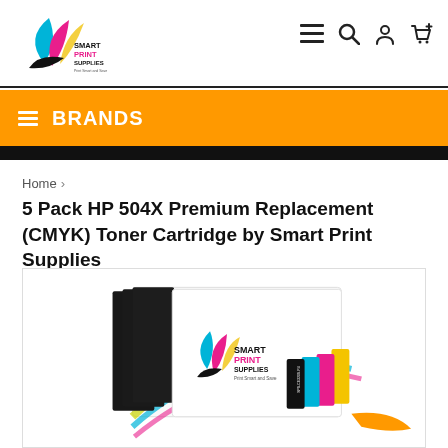[Figure (logo): Smart Print Supplies logo with colorful leaf/feather design in cyan, magenta, yellow, and black with text SMARTPRINT SUPPLIES]
≡  🔍  👤  🛒
≡ BRANDS
Home ›
5 Pack HP 504X Premium Replacement (CMYK) Toner Cartridge by Smart Print Supplies
[Figure (photo): Product photo showing 5 toner cartridges in a box set with Smart Print Supplies branding, CMYK colors visible (black, cyan, magenta, yellow)]